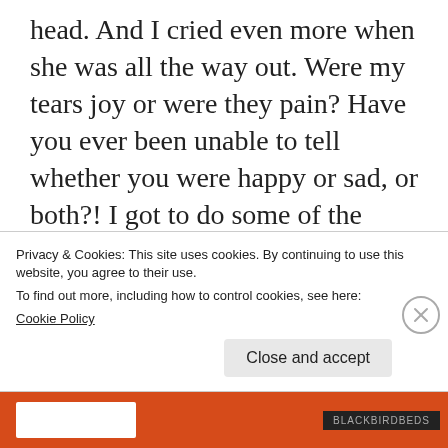head.  And I cried even more when she was all the way out.  Were my tears joy or were they pain?  Have you ever been unable to tell whether you were happy or sad, or both?!  I got to do some of the things other daddies do when their babies are born.  So much so that I almost forgot.  So much going on that I almost forgot..........forgot how sad I was supposed to feel.  Can you believe that?
Privacy & Cookies: This site uses cookies. By continuing to use this website, you agree to their use.
To find out more, including how to control cookies, see here:
Cookie Policy
Close and accept